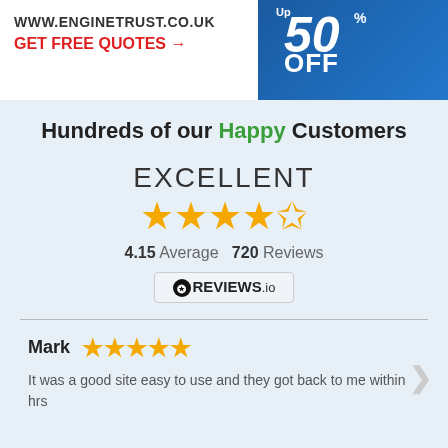[Figure (screenshot): Website banner for enginetrust.co.uk showing URL, GET FREE QUOTES call to action in red, and a promotional '50% OFF' graphic on the right with a mechanic image]
Hundreds of our Happy Customers
EXCELLENT
[Figure (other): 4.5 star rating display (4 full stars and 1 half star) in gold/yellow]
4.15 Average   720 Reviews
[Figure (logo): REVIEWS.io badge/logo]
Mark
[Figure (other): 5 full gold stars for Mark's review]
It was a good site easy to use and they got back to me within hrs